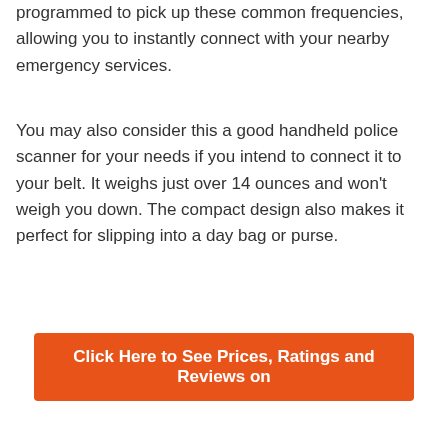programmed to pick up these common frequencies, allowing you to instantly connect with your nearby emergency services.
You may also consider this a good handheld police scanner for your needs if you intend to connect it to your belt. It weighs just over 14 ounces and won't weigh you down. The compact design also makes it perfect for slipping into a day bag or purse.
Click Here to See Prices, Ratings and Reviews on